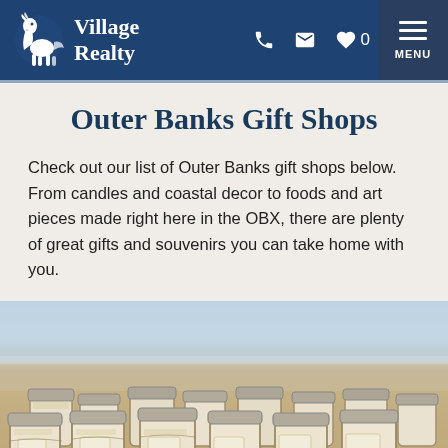Village Realty
Outer Banks Gift Shops
Check out our list of Outer Banks gift shops below. From candles and coastal decor to foods and art pieces made right here in the OBX, there are plenty of great gifts and souvenirs you can take home with you.
[Figure (photo): Photo of multiple mason jar candles with metal lids arranged on a sandy beach with ocean in the background]